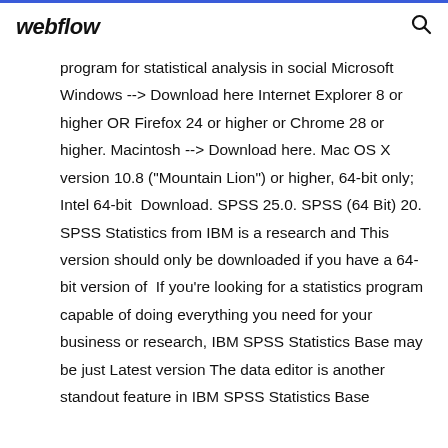webflow
program for statistical analysis in social Microsoft Windows --> Download here Internet Explorer 8 or higher OR Firefox 24 or higher or Chrome 28 or higher. Macintosh --> Download here. Mac OS X version 10.8 ("Mountain Lion") or higher, 64-bit only; Intel 64-bit Download. SPSS 25.0. SPSS (64 Bit) 20. SPSS Statistics from IBM is a research and This version should only be downloaded if you have a 64-bit version of If you're looking for a statistics program capable of doing everything you need for your business or research, IBM SPSS Statistics Base may be just Latest version The data editor is another standout feature in IBM SPSS Statistics Base